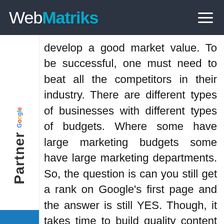WebMatriks
[Figure (logo): Google Partner badge displayed vertically on left sidebar]
develop a good market value. To be successful, one must need to beat all the competitors in their industry. There are different types of businesses with different types of budgets. Where some have large marketing budgets some have large marketing departments. So, the question is can you still get a rank on Google's first page and the answer is still YES. Though, it takes time to build quality content over time, knowing the ins and outs of your work, and knowing how to use SEO Keywords And Google SERP Features.